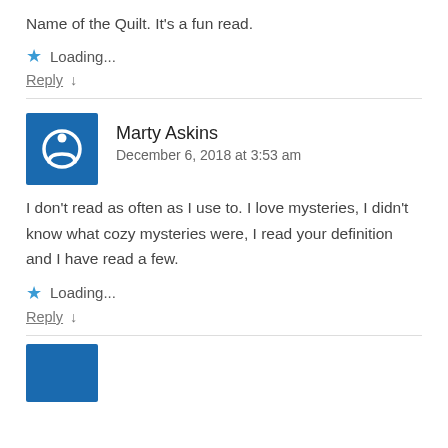Name of the Quilt. It's a fun read.
★ Loading...
Reply ↓
Marty Askins
December 6, 2018 at 3:53 am
I don't read as often as I use to. I love mysteries, I didn't know what cozy mysteries were, I read your definition and I have read a few.
★ Loading...
Reply ↓